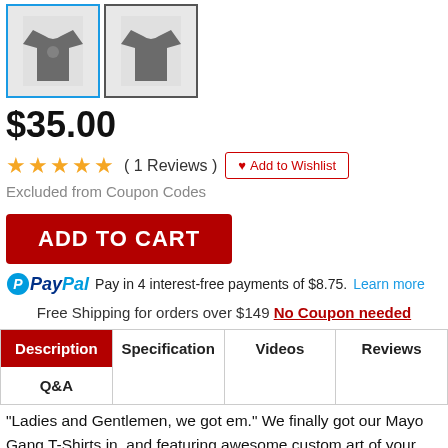[Figure (photo): Two product thumbnail images of a dark gray t-shirt, front and back views, in bordered boxes]
$35.00
★★★★★ ( 1 Reviews ) ❤ Add to Wishlist
Excluded from Coupon Codes
ADD TO CART
Pay in 4 interest-free payments of $8.75. Learn more
Free Shipping for orders over $149 No Coupon needed
Description | Specification | Videos | Reviews | Q&A
"Ladies and Gentlemen, we got em." We finally got our Mayo Gang T-Shirts in, and featuring awesome custom art of your favorite 3 Memesofter hosts! They're comprised of an incredibly lightweight and breathable material that's actually a bit form fitting, complimenting your figure and highlighting all the good aspects. These are a very limited run, meaning once they sell out there's no restock coming. In this world you either drip or drown, and these